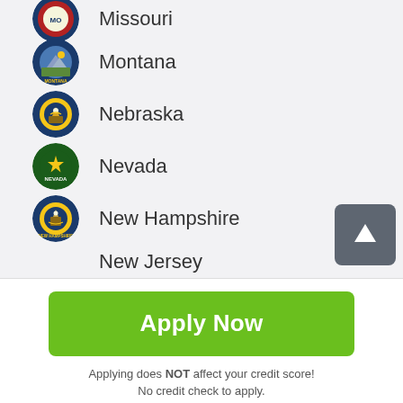Missouri
Montana
Nebraska
Nevada
New Hampshire
New Jersey
Apply Now
Applying does NOT affect your credit score! No credit check to apply.